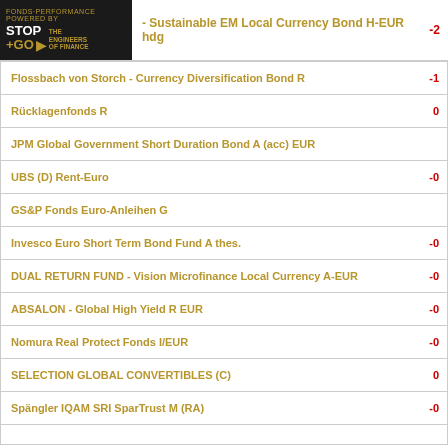Sustainable EM Local Currency Bond H-EUR hdg  -2
| Fund Name | Value |
| --- | --- |
| Flossbach von Storch - Currency Diversification Bond R | -1 |
| Rücklagenfonds R | 0 |
| JPM Global Government Short Duration Bond A (acc) EUR |  |
| UBS (D) Rent-Euro | -0 |
| GS&P Fonds Euro-Anleihen G |  |
| Invesco Euro Short Term Bond Fund A thes. | -0 |
| DUAL RETURN FUND - Vision Microfinance Local Currency A-EUR | -0 |
| ABSALON - Global High Yield R EUR | -0 |
| Nomura Real Protect Fonds I/EUR | -0 |
| SELECTION GLOBAL CONVERTIBLES (C) | 0 |
| Spängler IQAM SRI SparTrust M (RA) | -0 |